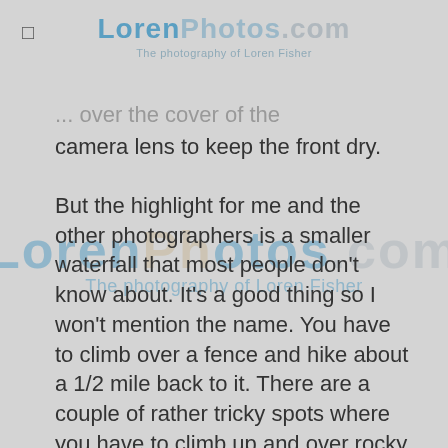LorenPhotos.com – The photography of Loren Fisher
...over the cover of the camera lens to keep the front dry.

But the highlight for me and the other photographers is a smaller waterfall that most people don't know about. It's a good thing so I won't mention the name. You have to climb over a fence and hike about a 1/2 mile back to it. There are a couple of rather tricky spots where you have to climb up and over rocky humps, which also keeps some people out. But once